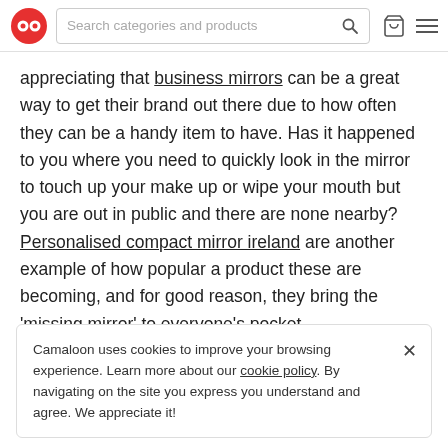Search categories and products
appreciating that business mirrors can be a great way to get their brand out there due to how often they can be a handy item to have. Has it happened to you where you need to quickly look in the mirror to touch up your make up or wipe your mouth but you are out in public and there are none nearby? Personalised compact mirror ireland are another example of how popular a product these are becoming, and for good reason, they bring the 'missing mirror' to everyone's pocket.
Camaloon uses cookies to improve your browsing experience. Learn more about our cookie policy. By navigating on the site you express you understand and agree. We appreciate it!